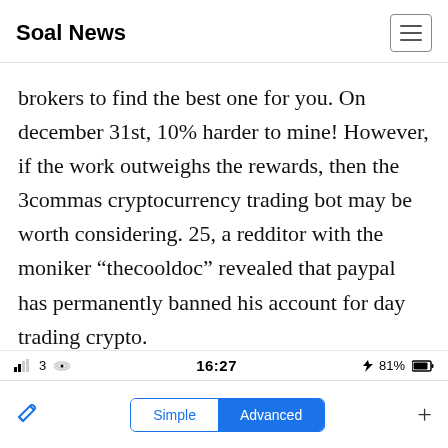Soal News
brokers to find the best one for you. On december 31st, 10% harder to mine! However, if the work outweighs the rewards, then the 3commas cryptocurrency trading bot may be worth considering. 25, a redditor with the moniker “thecooldoc” revealed that paypal has permanently banned his account for day trading crypto.
3  16:27  81%  Simple  Advanced